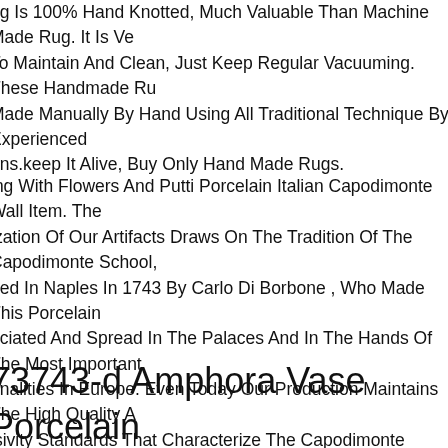ug Is 100% Hand Knotted, Much Valuable Than Machine Made Rug. It Is Ve To Maintain And Clean, Just Keep Regular Vacuuming. These Handmade Ru Made Manually By Hand Using All Traditional Technique By Experienced ans.keep It Alive, Buy Only Hand Made Rugs.
ing With Flowers And Putti Porcelain Italian Capodimonte Wall Item. The ization Of Our Artifacts Draws On The Tradition Of The Capodimonte School, ded In Naples In 1743 By Carlo Di Borbone , Who Made This Porcelain eciated And Spread In The Palaces And In The Hands Of The Most Important onalities In Europe. Even Today Our Production Maintains The High Quality A isivity Standards That Characterize The Capodimonte Brand The Control An Greatest Care In Choosing The Raw Materials, Together With The Craftsmans ired With Many Years Of Research And Love For This Work, Are A Absolute antee For Our Customers. We Believe And Invest In The High Quality Of The n Product Our Items Are Entirely Handmade And Each One Stands Out For It peatable Uniqueness. For This Reason, The Finest Items Are Made In A Limit Certif.
73743-d Amphora Vase Porcelain onze Antique Style 18 7/8x23 5/8in